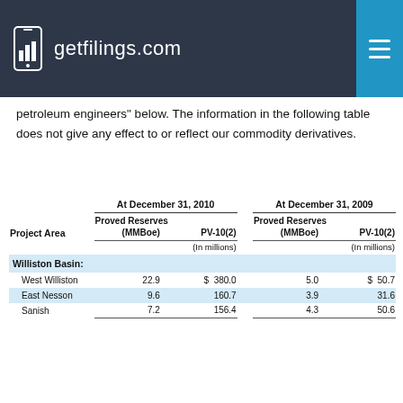getfilings.com
petroleum engineers" below. The information in the following table does not give any effect to or reflect our commodity derivatives.
| Project Area | At December 31, 2010 Proved Reserves (MMBoe) | At December 31, 2010 Proved Reserves PV-10(2) (In millions) | At December 31, 2009 Proved Reserves (MMBoe) | At December 31, 2009 Proved Reserves PV-10(2) (In millions) |
| --- | --- | --- | --- | --- |
| Williston Basin: |  |  |  |  |
| West Williston | 22.9 | $ 380.0 | 5.0 | $ 50.7 |
| East Nesson | 9.6 | 160.7 | 3.9 | 31.6 |
| Sanish | 7.2 | 156.4 | 4.3 | 50.6 |